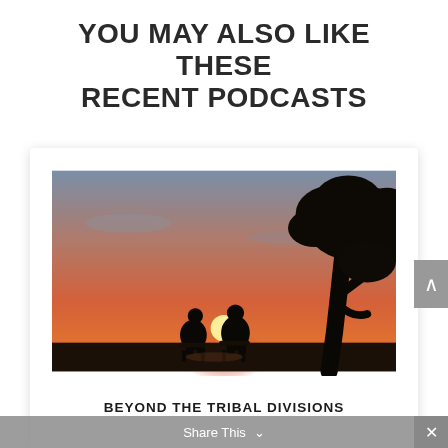YOU MAY ALSO LIKE THESE RECENT PODCASTS
[Figure (photo): Two people sitting in chairs in silhouette against a sunset, with a large tree silhouette on the right side. The sky is orange and pink with dramatic lighting.]
BEYOND THE TRIBAL DIVISIONS